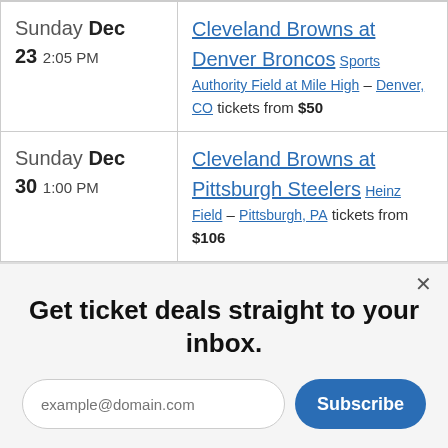| Date | Event |
| --- | --- |
| Sunday Dec 23 2:05 PM | Cleveland Browns at Denver Broncos Sports Authority Field at Mile High – Denver, CO tickets from $50 |
| Sunday Dec 30 1:00 PM | Cleveland Browns at Pittsburgh Steelers Heinz Field – Pittsburgh, PA tickets from $106 |
Get ticket deals straight to your inbox.